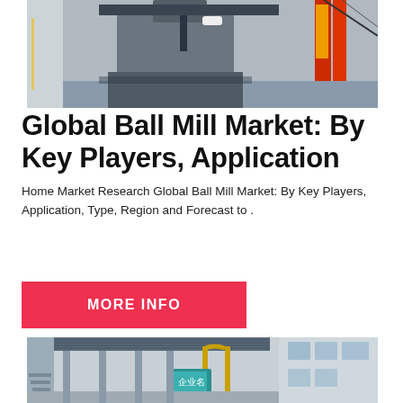[Figure (photo): Industrial ball mill machinery inside a large factory, showing heavy equipment with red structural frames and machinery components.]
Global Ball Mill Market: By Key Players, Application
Home Market Research Global Ball Mill Market: By Key Players, Application, Type, Region and Forecast to .
[Figure (other): Red 'MORE INFO' button with bold white uppercase text on a crimson/red background.]
[Figure (photo): Industrial factory building exterior corridor with yellow piping, overhead crane structure, and multi-story building facade visible.]